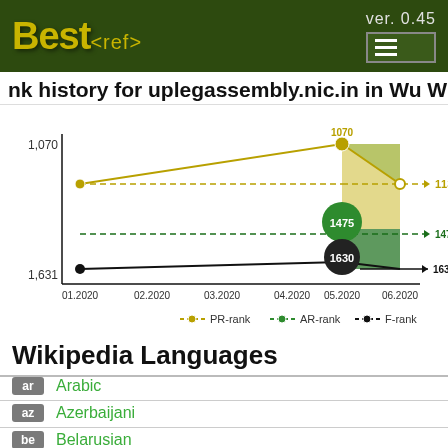Best<ref> ver. 0.45
nk history for uplegassembly.nic.in in Wu Wikipedia
[Figure (line-chart): Rank history for uplegassembly.nic.in in Wu Wikipedia]
Wikipedia Languages
ar  Arabic
az  Azerbaijani
be  Belarusian
bg  Bulgarian